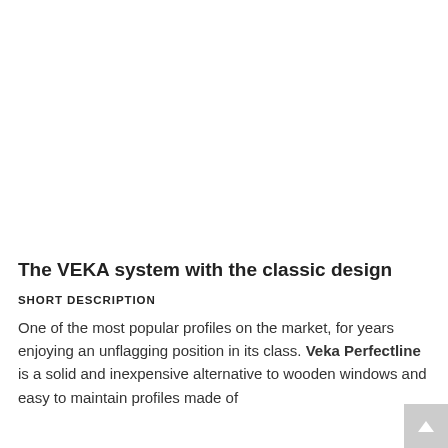The VEKA system with the classic design
SHORT DESCRIPTION
One of the most popular profiles on the market, for years enjoying an unflagging position in its class. Veka Perfectline is a solid and inexpensive alternative to wooden windows and easy to maintain profiles made of